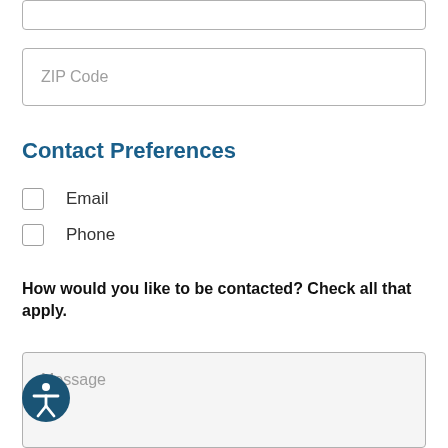[Figure (other): Partial input field (top of previous form field, cut off at top of page)]
[Figure (other): ZIP Code text input field with placeholder text 'ZIP Code']
Contact Preferences
Email (checkbox unchecked)
Phone (checkbox unchecked)
How would you like to be contacted? Check all that apply.
[Figure (other): Message textarea input with placeholder text 'Message' and light gray background]
[Figure (other): Accessibility/wheelchair icon button, dark teal circle with white figure, bottom left corner]